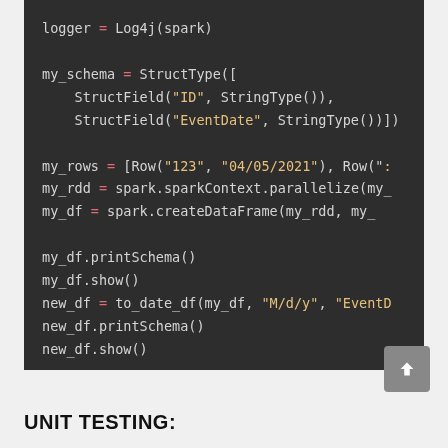[Figure (screenshot): Code block on dark background showing Python PySpark code: logger = Log4j(spark), my_schema = StructType with StructField entries for ID and EventDate, my_rows, my_rdd, my_df assignments, printSchema/show calls, new_df to_date_df call, new_df.printSchema() and new_df.show()]
UNIT TESTING: